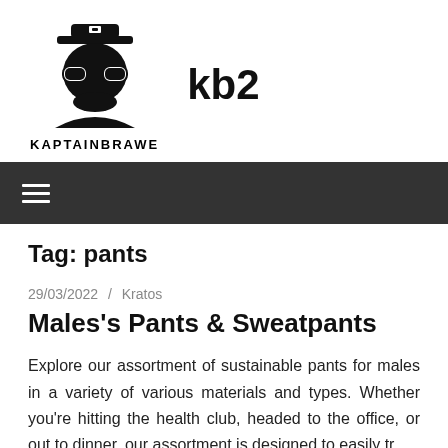[Figure (logo): KaptainBrawe logo: a stylized captain face with hat and sunglasses, black silhouette, with text KAPTAINBRAWE below and 'kb2' to the right]
≡ (navigation menu icon)
Tag: pants
29/03/2022 / Kratos
Males's Pants & Sweatpants
Explore our assortment of sustainable pants for males in a variety of various materials and types. Whether you're hitting the health club, headed to the office, or out to dinner, our assortment is designed to easily tr...